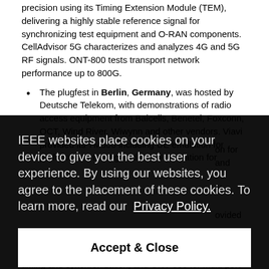precision using its Timing Extension Module (TEM), delivering a highly stable reference signal for synchronizing test equipment and O-RAN components. CellAdvisor 5G characterizes and analyzes 4G and 5G RF signals. ONT-800 tests transport network performance up to 800G.
The plugfest in Berlin, Germany, was hosted by Deutsche Telekom, with demonstrations of radio access equipment from Baicells, Benetel, Foxconn, QCT, Wind River, Wiwynn and other vendors. Viavi provided its TM500 including UE emulation for performance testing and O-RU emulation for ...
IEEE websites place cookies on your device to give you the best user experience. By using our websites, you agree to the placement of these cookies. To learn more, read our Privacy Policy.
Accept & Close
multiple vendors. VIAVI provided the MTS-5800 for timing and synchronization, and ONT-800 for multi-port transport